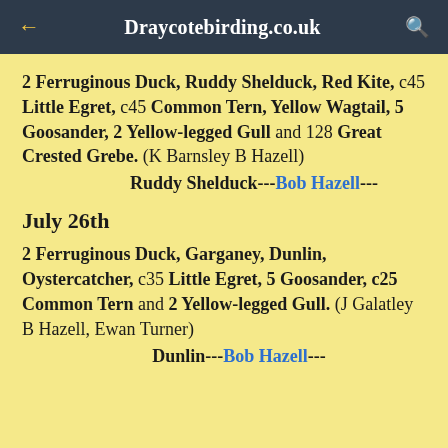← Draycotebirding.co.uk 🔍
2 Ferruginous Duck, Ruddy Shelduck, Red Kite, c45 Little Egret, c45 Common Tern, Yellow Wagtail, 5 Goosander, 2 Yellow-legged Gull and 128 Great Crested Grebe. (K Barnsley B Hazell)
Ruddy Shelduck---Bob Hazell---
July 26th
2 Ferruginous Duck, Garganey, Dunlin, Oystercatcher, c35 Little Egret, 5 Goosander, c25 Common Tern and 2 Yellow-legged Gull. (J Galatley B Hazell, Ewan Turner)
Dunlin---Bob Hazell---